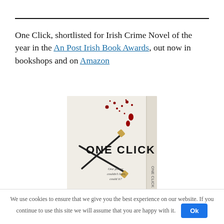One Click, shortlisted for Irish Crime Novel of the year in the An Post Irish Book Awards, out now in bookshops and on Amazon
[Figure (photo): Book cover of 'One Click' showing a white book with crossed matches and blood splatters, with tagline 'One phone couldn't hurt, could it?']
We use cookies to ensure that we give you the best experience on our website. If you continue to use this site we will assume that you are happy with it. Ok